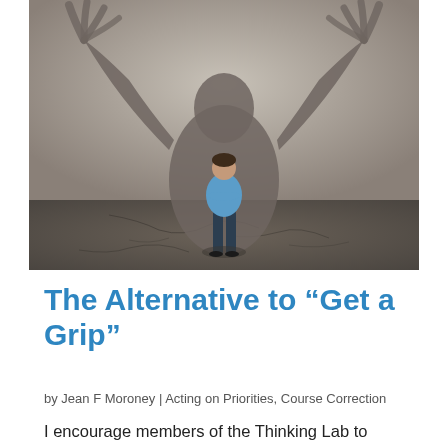[Figure (photo): A man in a blue shirt standing with arms crossed, casting a large shadow of a monster-like figure with raised arms on a grey wall behind him. Ground appears to be cracked stone.]
The Alternative to “Get a Grip”
by Jean F Moroney | Acting on Priorities, Course Correction
I encourage members of the Thinking Lab to